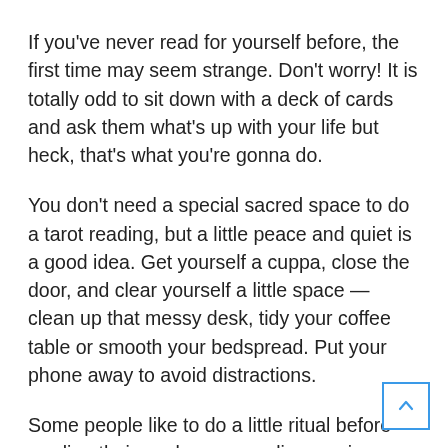If you've never read for yourself before, the first time may seem strange. Don't worry! It is totally odd to sit down with a deck of cards and ask them what's up with your life but heck, that's what you're gonna do.
You don't need a special sacred space to do a tarot reading, but a little peace and quiet is a good idea. Get yourself a cuppa, close the door, and clear yourself a little space — clean up that messy desk, tidy your coffee table or smooth your bedspread. Put your phone away to avoid distractions.
Some people like to do a little ritual before reading their cards — grounding, saying a prayer, lighting a candle, whatever. Or you could simply close your eyes and take